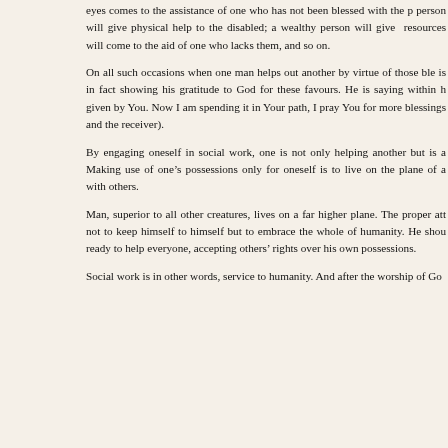eyes comes to the assistance of one who has not been blessed with the person will give physical help to the disabled; a wealthy person will give resources will come to the aid of one who lacks them, and so on.
On all such occasions when one man helps out another by virtue of those ble is in fact showing his gratitude to God for these favours. He is saying within h given by You. Now I am spending it in Your path, I pray You for more blessings and the receiver).
By engaging oneself in social work, one is not only helping another but is a Making use of one's possessions only for oneself is to live on the plane of a with others.
Man, superior to all other creatures, lives on a far higher plane. The proper att not to keep himself to himself but to embrace the whole of humanity. He shou ready to help everyone, accepting others' rights over his own possessions.
Social work is in other words, service to humanity. And after the worship of Go